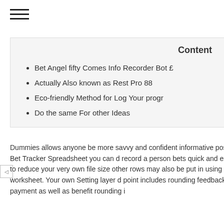☰ (hamburger menu icon)
Content
Bet Angel fifty Comes Info Recorder Bot £
Actually Also known as Rest Pro 88
Eco-friendly Method for Log Your progr…
Do the same For other Ideas
Dummies allows anyone be more savvy and confident informative post in applying whate know. Possess a Bet Tracker Spreadsheet you can record a person bets quick and easy. Your Wagers p contains little lines to reduce your very own file size other rows may also be put in using the guidelines i inside the 'Intro' worksheet. Your own Setting layer d point includes rounding feedback, which enables yo change their payment as well as benefit rounding i